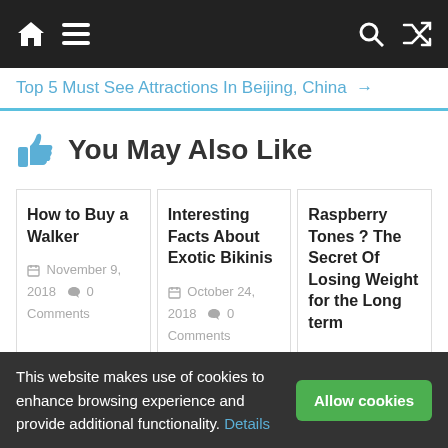Navigation bar with home, menu, search, and shuffle icons
Top 5 Must See Attractions In Beijing, China →
👍 You May Also Like
How to Buy a Walker
November 9, 2018  💬 0 Comments
Interesting Facts About Exotic Bikinis
October 24, 2018  💬 0 Comments
Raspberry Tones ? The Secret Of Losing Weight for the Long term
August 18, 2018  💬 0
This website makes use of cookies to enhance browsing experience and provide additional functionality. Details  Allow cookies